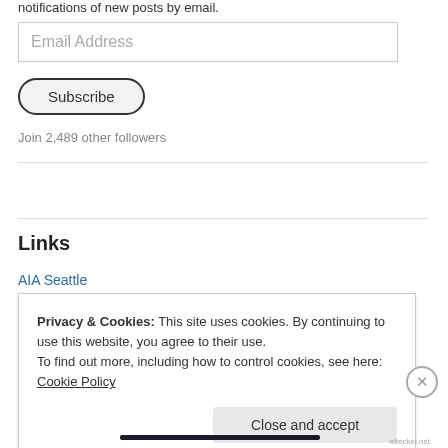notifications of new posts by email.
Email Address
Subscribe
Join 2,489 other followers
Links
AIA Seattle
Privacy & Cookies: This site uses cookies. By continuing to use this website, you agree to their use.
To find out more, including how to control cookies, see here: Cookie Policy
Close and accept